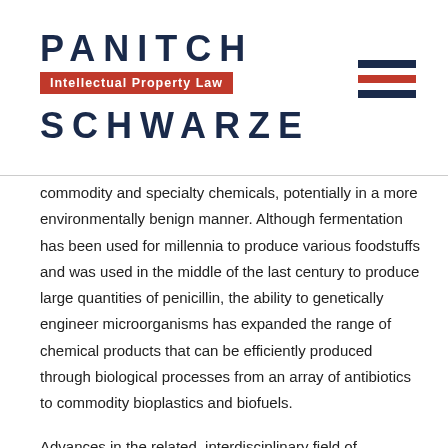PANITCH Intellectual Property Law SCHWARZE
commodity and specialty chemicals, potentially in a more environmentally benign manner. Although fermentation has been used for millennia to produce various foodstuffs and was used in the middle of the last century to produce large quantities of penicillin, the ability to genetically engineer microorganisms has expanded the range of chemical products that can be efficiently produced through biological processes from an array of antibiotics to commodity bioplastics and biofuels.
Advances in the related, interdisciplinary field of materials science are also necessary for meeting society's needs. Lighter and stronger materials are required to reduce energy consumption and improve performance in the numerous sectors, such as in aerospace and automotive applications. Advancements in the field of biomaterials allow for advancements in the medical sector, such